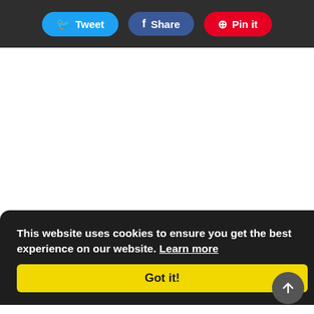Tweet | Share | Pin it
[Figure (other): White content/advertisement area]
This website uses cookies to ensure you get the best experience on our website. Learn more
Got it!
...in the form of a name, a place and the conformity of having you as her parent. Nevertheless, you decide that a Birth Certificate is irrelevant since you think it is obvious that people who socialize with her will know the details of who she is, maybe. However, what happens to her education? How would the society accept her if she doesn't have a